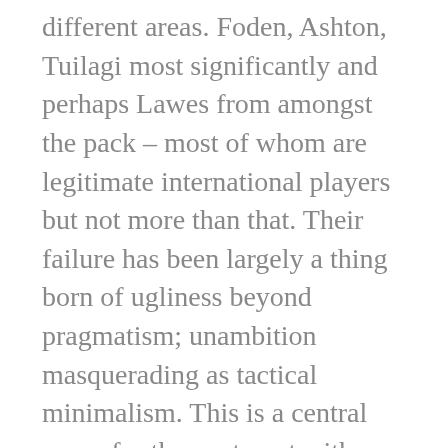different areas. Foden, Ashton, Tuilagi most significantly and perhaps Lawes from amongst the pack – most of whom are legitimate international players but not more than that. Their failure has been largely a thing born of ugliness beyond pragmatism; unambition masquerading as tactical minimalism. This is a central cause for the contempt with which they have understandably been held in the hearts of rugbyfolk worldover. They have largely chosen to deny the beauty and lifeblood of the game by opting for monotones. It is therefore appropriate that the manner of their defeat by an awakening but hardly inspired French side was chastening to the point of embarrassment. People feel that it is just...